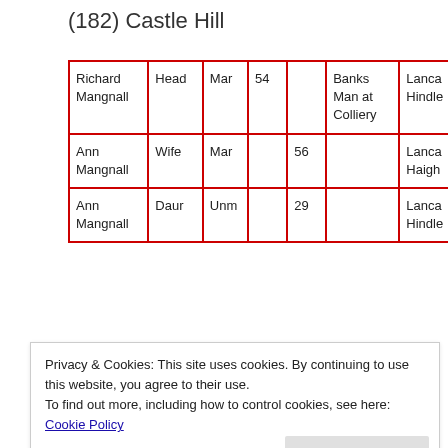(182) Castle Hill
| Richard Mangnall | Head | Mar | 54 |  | Banks Man at Colliery | Lanca Hindle |
| Ann Mangnall | Wife | Mar |  | 56 |  | Lanca Haigh |
| Ann Mangnall | Daur | Unm |  | 29 |  | Lanca Hindle |
|  |  |  |  |  | Cotton |  |
Privacy & Cookies: This site uses cookies. By continuing to use this website, you agree to their use.
To find out more, including how to control cookies, see here: Cookie Policy